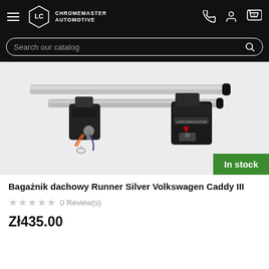CHROMEMASTER AUTOMOTIVE
Search our catalog
[Figure (photo): Silver roof rack bars with black mounting brackets for Volkswagen Caddy III, displayed on a white background. A key and lock mechanism is visible on one of the brackets. An 'In stock' green badge overlays the bottom-right corner.]
Bagażnik dachowy Runner Silver Volkswagen Caddy III
0 Review(s)
Zł435.00